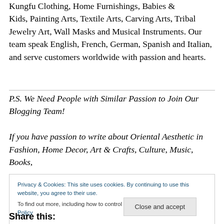Kungfu Clothing, Home Furnishings, Babies & Kids, Painting Arts, Textile Arts, Carving Arts, Tribal Jewelry Art, Wall Masks and Musical Instruments. Our team speak English, French, German, Spanish and Italian, and serve customers worldwide with passion and hearts.
P.S. We Need People with Similar Passion to Join Our Blogging Team!
If you have passion to write about Oriental Aesthetic in Fashion, Home Decor, Art & Crafts, Culture, Music, Books,
Privacy & Cookies: This site uses cookies. By continuing to use this website, you agree to their use.
To find out more, including how to control cookies, see here: Cookie Policy
Close and accept
Share this: